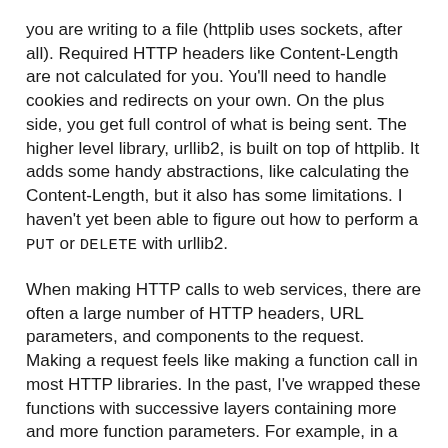you are writing to a file (httplib uses sockets, after all). Required HTTP headers like Content-Length are not calculated for you. You'll need to handle cookies and redirects on your own. On the plus side, you get full control of what is being sent. The higher level library, urllib2, is built on top of httplib. It adds some handy abstractions, like calculating the Content-Length, but it also has some limitations. I haven't yet been able to figure out how to perform a PUT or DELETE with urllib2.
When making HTTP calls to web services, there are often a large number of HTTP headers, URL parameters, and components to the request. Making a request feels like making a function call in most HTTP libraries. In the past, I've wrapped these functions with successive layers containing more and more function parameters. For example, in a request to send a photo and metadata to PicasaWeb, you need to include an Authorization token, Content-Type specifying a MIME-multipart request and the multipart boundary, and a multipart payload consisting of the Atom XML describing the photo and the photo's binary data. If you add in the the ability to specify other headers and URI